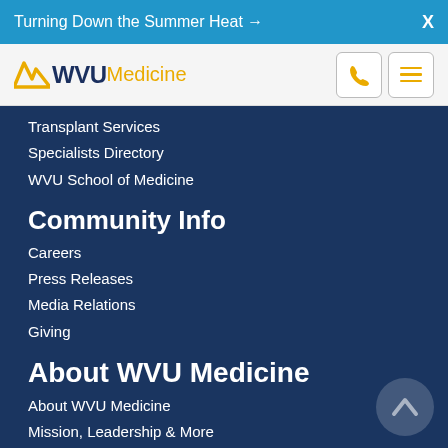Turning Down the Summer Heat → X
[Figure (logo): WVU Medicine logo with flying WV emblem in gold and WVU text in navy, Medicine in gold]
Transplant Services
Specialists Directory
WVU School of Medicine
Community Info
Careers
Press Releases
Media Relations
Giving
About WVU Medicine
About WVU Medicine
Mission, Leadership & More
Rights, Privacy & Non-discrimination
Disclaimer
Contact Us
Employee Portal